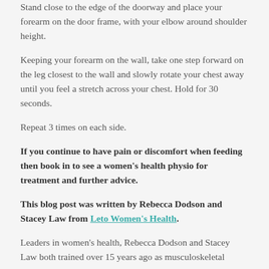Stand close to the edge of the doorway and place your forearm on the door frame, with your elbow around shoulder height.
Keeping your forearm on the wall, take one step forward on the leg closest to the wall and slowly rotate your chest away until you feel a stretch across your chest. Hold for 30 seconds.
Repeat 3 times on each side.
If you continue to have pain or discomfort when feeding then book in to see a women's health physio for treatment and further advice.
This blog post was written by Rebecca Dodson and Stacey Law from Leto Women's Health.
Leaders in women's health, Rebecca Dodson and Stacey Law both trained over 15 years ago as musculoskeletal